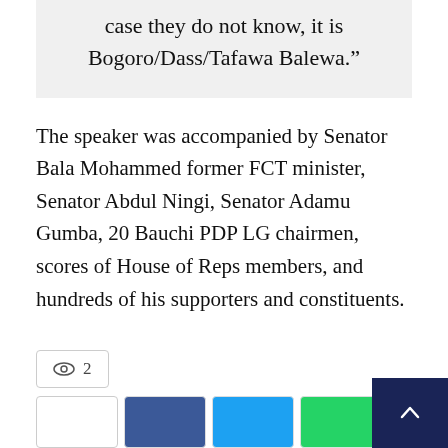case they do not know, it is Bogoro/Dass/Tafawa Balewa.”
The speaker was accompanied by Senator Bala Mohammed former FCT minister, Senator Abdul Ningi, Senator Adamu Gumba, 20 Bauchi PDP LG chairmen, scores of House of Reps members, and hundreds of his supporters and constituents.
2